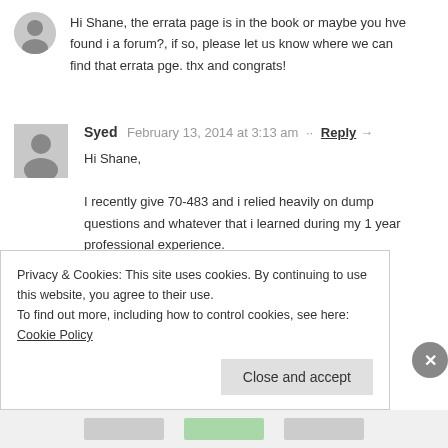Hi Shane, the errata page is in the book or maybe you hve found i a forum?, if so, please let us know where we can find that errata pge. thx and congrats!
Syed  February 13, 2014 at 3:13 am  Reply →
Hi Shane,

I recently give 70-483 and i relied heavily on dump questions and whatever that i learned during my 1 year professional experience.
Privacy & Cookies: This site uses cookies. By continuing to use this website, you agree to their use.
To find out more, including how to control cookies, see here: Cookie Policy
Close and accept